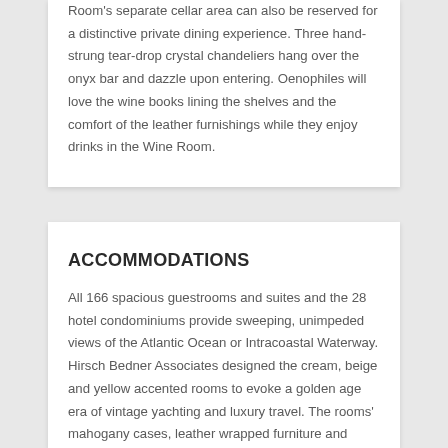Room's separate cellar area can also be reserved for a distinctive private dining experience. Three hand-strung tear-drop crystal chandeliers hang over the onyx bar and dazzle upon entering. Oenophiles will love the wine books lining the shelves and the comfort of the leather furnishings while they enjoy drinks in the Wine Room.
ACCOMMODATIONS
All 166 spacious guestrooms and suites and the 28 hotel condominiums provide sweeping, unimpeded views of the Atlantic Ocean or Intracoastal Waterway. Hirsch Bedner Associates designed the cream, beige and yellow accented rooms to evoke a golden age era of vintage yachting and luxury travel. The rooms' mahogany cases, leather wrapped furniture and stone and crystal accents